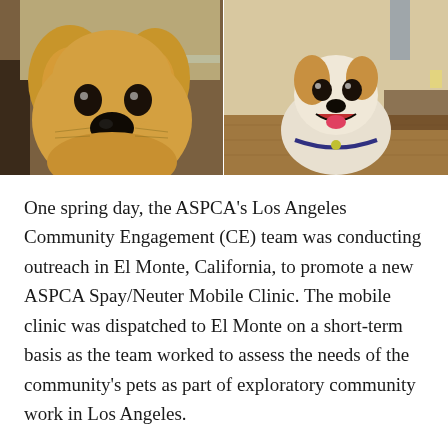[Figure (photo): Two dogs side by side. Left: a tan/golden chihuahua with a large nose close to the camera, indoors. Right: a white and tan small dog smiling with mouth open, sitting in a room with hardwood floor.]
One spring day, the ASPCA's Los Angeles Community Engagement (CE) team was conducting outreach in El Monte, California, to promote a new ASPCA Spay/Neuter Mobile Clinic. The mobile clinic was dispatched to El Monte on a short-term basis as the team worked to assess the needs of the community's pets as part of exploratory community work in Los Angeles.
As they walked around the neighborhood, the